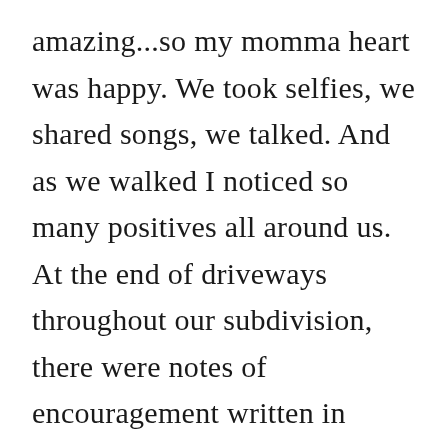amazing...so my momma heart was happy. We took selfies, we shared songs, we talked. And as we walked I noticed so many positives all around us. At the end of driveways throughout our subdivision, there were notes of encouragement written in chalk. Smiley faces, hearts, and phrases. Each one brought a smile to my